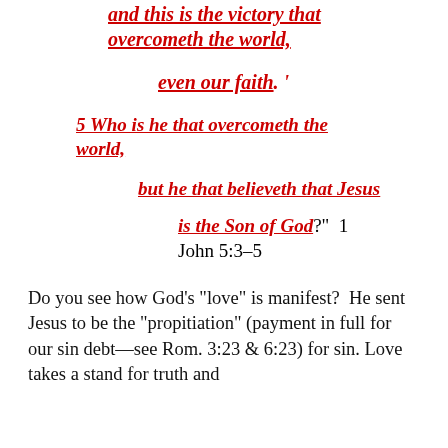and this is the victory that overcometh the world,
even our faith. '
5 Who is he that overcometh the world,
but he that believeth that Jesus
is the Son of God?"  1 John 5:3–5
Do you see how God’s “love” is manifest?  He sent Jesus to be the “propitiation” (payment in full for our sin debt—see Rom. 3:23 & 6:23) for sin. Love takes a stand for truth and